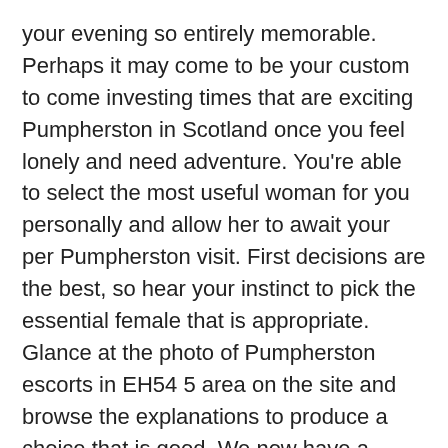your evening so entirely memorable. Perhaps it may come to be your custom to come investing times that are exciting Pumpherston in Scotland once you feel lonely and need adventure. You're able to select the most useful woman for you personally and allow her to await your per Pumpherston visit. First decisions are the best, so hear your instinct to pick the essential female that is appropriate. Glance at the photo of Pumpherston escorts in EH54 5 area on the site and browse the explanations to produce a choice that is good. We now have a selection of interesting females who stumbled on Pumpherston to provide our clients using their abilities and astonishing beauty. Think hard if you should be ready for that as what we offer you is 100% pure ecstasy, only for the absolute most fashionable guys!!! Get and experience precisely what our women had ready for you: each of them anything unusual and unique! It is because they may not be